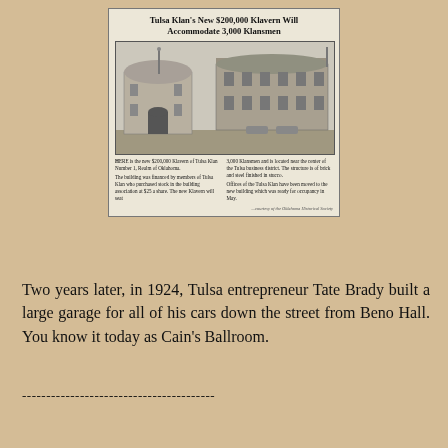[Figure (photo): Newspaper clipping showing a black-and-white photograph of the Tulsa Klan's new $200,000 Klavern building, a two-story brick structure finished in stucco. The clipping includes a headline, photo, and two-column body text describing the building, with a credit to the Oklahoma Historical Society.]
Two years later, in 1924, Tulsa entrepreneur Tate Brady built a large garage for all of his cars down the street from Beno Hall. You know it today as Cain's Ballroom.
----------------------------------------